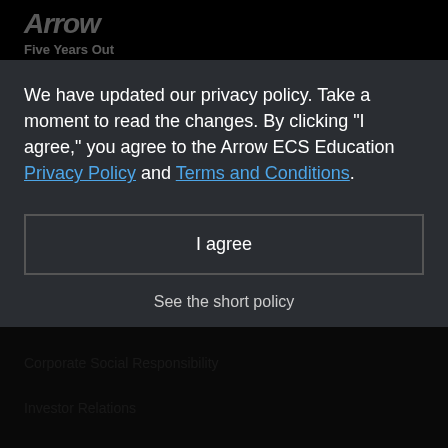Arrow Five Years Out
Business
Electronic Components
Enterprise Computing Solutions
We have updated our privacy policy. Take a moment to read the changes. By clicking "I agree," you agree to the Arrow ECS Education Privacy Policy and Terms and Conditions.
I agree
Careers
Corporate Social Responsibility
Investor Relations
See the short policy